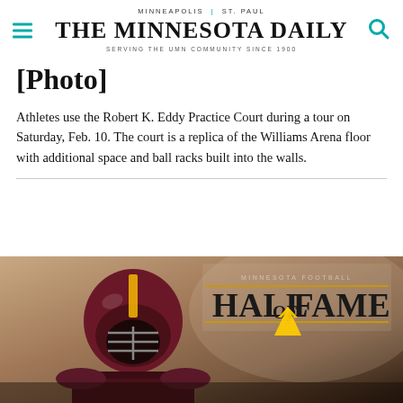MINNEAPOLIS | ST. PAUL — THE MINNESOTA DAILY — SERVING THE UMN COMMUNITY SINCE 1900
[Photo]
Athletes use the Robert K. Eddy Practice Court during a tour on Saturday, Feb. 10. The court is a replica of the Williams Arena floor with additional space and ball racks built into the walls.
[Figure (photo): A mannequin or statue wearing a Minnesota Gophers football helmet in maroon and gold, positioned in front of a Minnesota Football Hall of Fame sign with the University of Minnesota M logo visible below.]